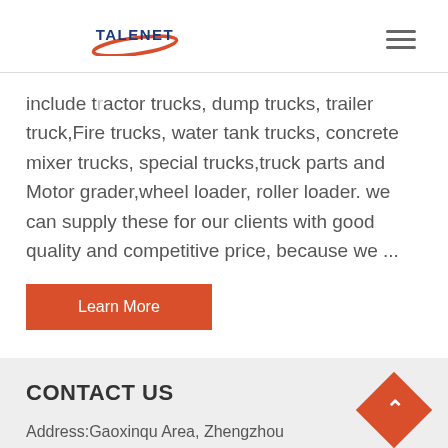[Figure (logo): Talenet company logo with red swoosh and blue text]
include tractor trucks, dump trucks, trailer truck,Fire trucks, water tank trucks, concrete mixer trucks, special trucks,truck parts and Motor grader,wheel loader, roller loader. we can supply these for our clients with good quality and competitive price, because we ...
Learn More
CONTACT US
Address:Gaoxinqu Area, Zhengzhou Henan China